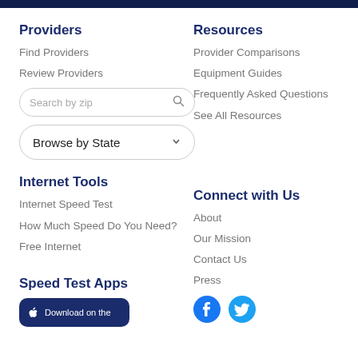Providers
Find Providers
Review Providers
Resources
Provider Comparisons
Equipment Guides
Frequently Asked Questions
See All Resources
Internet Tools
Internet Speed Test
How Much Speed Do You Need?
Free Internet
Connect with Us
About
Our Mission
Contact Us
Press
Speed Test Apps
[Figure (screenshot): Download on the App Store button (dark blue rounded rectangle)]
[Figure (logo): Facebook and Twitter social media icons in blue]